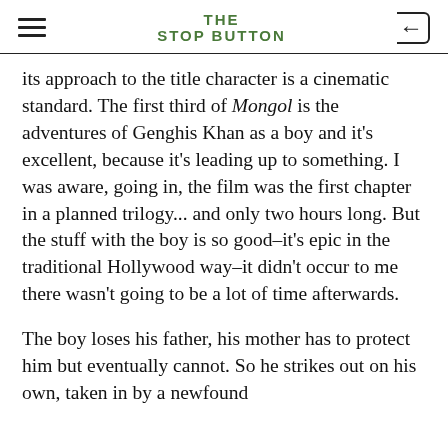THE STOP BUTTON
its approach to the title character is a cinematic standard. The first third of Mongol is the adventures of Genghis Khan as a boy and it's excellent, because it's leading up to something. I was aware, going in, the film was the first chapter in a planned trilogy... and only two hours long. But the stuff with the boy is so good–it's epic in the traditional Hollywood way–it didn't occur to me there wasn't going to be a lot of time afterwards.
The boy loses his father, his mother has to protect him but eventually cannot. So he strikes out on his own, taken in by a newfound